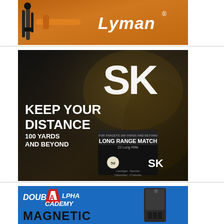[Figure (illustration): Lyman brand advertisement showing reloading/shooting equipment tools against an orange background with the Lyman logo in white italic text]
[Figure (illustration): SK ammunition advertisement with dark smoky background showing large SK logo, text 'KEEP YOUR DISTANCE 100 YARDS AND BEYOND' and a box of SK Long Range Match 22 Long Rifle ammunition]
[Figure (illustration): Double Alpha Academy advertisement with blue background showing the company logo and word MAGNETIC with a shooting timer/product image]